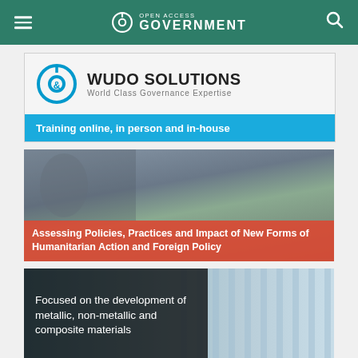Open Access Government
[Figure (logo): Wudo Solutions logo with text: World Class Governance Expertise]
Training online, in person and in-house
[Figure (photo): Photo of humanitarian scene with overlay: Assessing Policies, Practices and Impact of New Forms of Humanitarian Action and Foreign Policy]
[Figure (photo): Photo of metallic pipes with overlay: Focused on the development of metallic, non-metallic and composite materials]
[Figure (logo): Dembridge Lean Six Sigma Training & Consulting logo]
Learn, Improve, Sustain